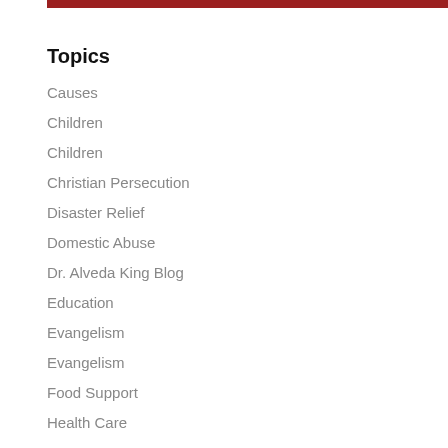Topics
Causes
Children
Children
Christian Persecution
Disaster Relief
Domestic Abuse
Dr. Alveda King Blog
Education
Evangelism
Evangelism
Food Support
Health Care